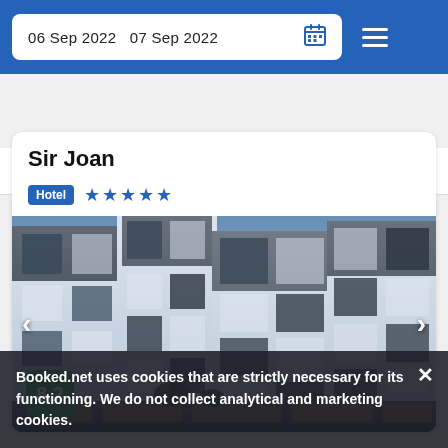06 Sep 2022   07 Sep 2022
Filter by   Sort by   View map
Sir Joan
Hotel ★★★★★
[Figure (photo): Exterior photo of Sir Joan hotel building — modern white geometric facade with square-patterned design, blue twilight sky, internal courtyard with trees and terrace lighting visible at ground level.]
8.2
Booked.net uses cookies that are strictly necessary for its functioning. We do not collect analytical and marketing cookies.
5.1 mi from City Center